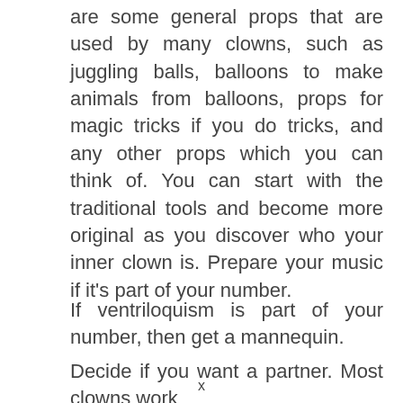are some general props that are used by many clowns, such as juggling balls, balloons to make animals from balloons, props for magic tricks if you do tricks, and any other props which you can think of. You can start with the traditional tools and become more original as you discover who your inner clown is. Prepare your music if it's part of your number.
If ventriloquism is part of your number, then get a mannequin.
Decide if you want a partner. Most clowns work
x